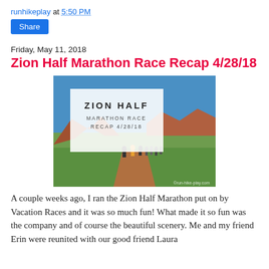runhikeplay at 5:50 PM
Share
Friday, May 11, 2018
Zion Half Marathon Race Recap 4/28/18
[Figure (photo): Photo of runners on a trail through green fields with red rock formations in the background. Overlaid title text reads: ZION HALF MARATHON RACE RECAP 4/28/18. Watermark: run-hike-play.com]
A couple weeks ago, I ran the Zion Half Marathon put on by Vacation Races and it was so much fun! What made it so fun was the company and of course the beautiful scenery. Me and my friend Erin were reunited with our good friend Laura